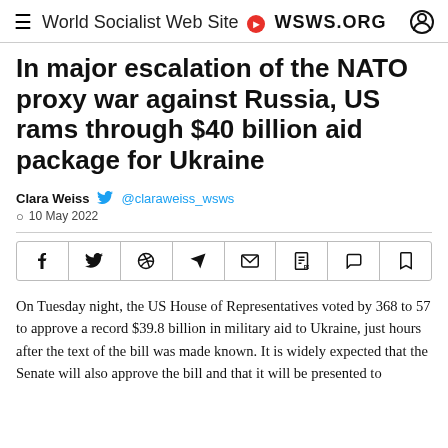World Socialist Web Site WSWS.ORG
In major escalation of the NATO proxy war against Russia, US rams through $40 billion aid package for Ukraine
Clara Weiss @claraweiss_wsws
10 May 2022
[Figure (other): Social share bar with icons: Facebook, Twitter, WhatsApp, Telegram, Email, PDF, Comment, Bookmark]
On Tuesday night, the US House of Representatives voted by 368 to 57 to approve a record $39.8 billion in military aid to Ukraine, just hours after the text of the bill was made known. It is widely expected that the Senate will also approve the bill and that it will be presented to